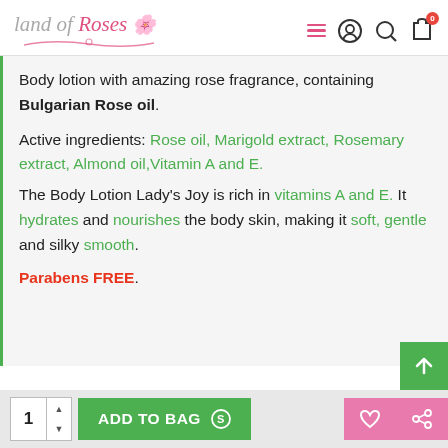Land of Roses — navigation header with logo and icons
Body lotion with amazing rose fragrance, containing Bulgarian Rose oil.

Active ingredients: Rose oil, Marigold extract, Rosemary extract, Almond oil,Vitamin A and E. The Body Lotion Lady's Joy is rich in vitamins A and E. It hydrates and nourishes the body skin, making it soft, gentle and silky smooth.

Parabens FREE.
1  ADD TO BAG  [wishlist] [share]